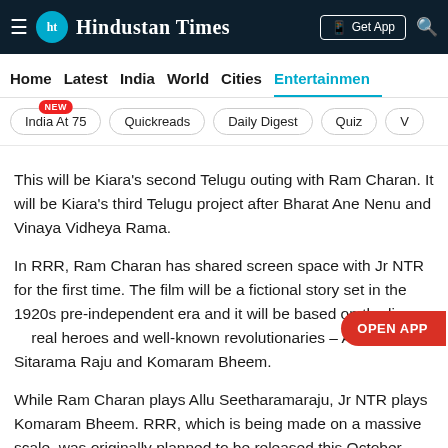Hindustan Times
Home | Latest | India | World | Cities | Entertainment
India At 75 NEW | Quickreads | Daily Digest | Quiz | V
This will be Kiara's second Telugu outing with Ram Charan. It will be Kiara's third Telugu project after Bharat Ane Nenu and Vinaya Vidheya Rama.
In RRR, Ram Charan has shared screen space with Jr NTR for the first time. The film will be a fictional story set in the 1920s pre-independent era and it will be based on the lives of real heroes and well-known revolutionaries – Alluri Sitarama Raju and Komaram Bheem.
While Ram Charan plays Allu Seetharamaraju, Jr NTR plays Komaram Bheem. RRR, which is being made on a massive scale, was originally planned to be released this October. However, given the current pandemic situation, the makers have